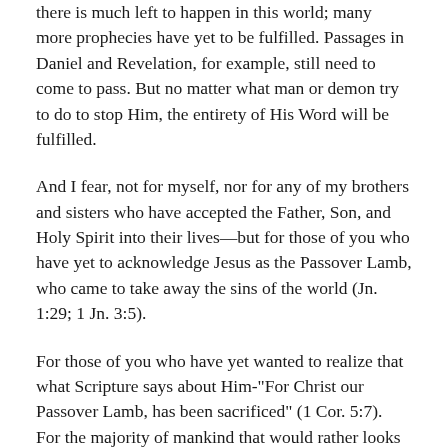there is much left to happen in this world; many more prophecies have yet to be fulfilled. Passages in Daniel and Revelation, for example, still need to come to pass. But no matter what man or demon try to do to stop Him, the entirety of His Word will be fulfilled.
And I fear, not for myself, nor for any of my brothers and sisters who have accepted the Father, Son, and Holy Spirit into their lives—but for those of you who have yet to acknowledge Jesus as the Passover Lamb, who came to take away the sins of the world (Jn. 1:29; 1 Jn. 3:5).
For those of you who have yet wanted to realize that what Scripture says about Him-"For Christ our Passover Lamb, has been sacrificed" (1 Cor. 5:7). For the majority of mankind that would rather looks to false gods (demons) and other false teachers, than accept the Lamb who has